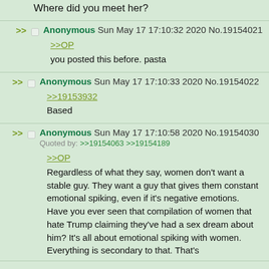Where did you meet her?
Anonymous Sun May 17 17:10:32 2020 No.19154021
>>OP
you posted this before. pasta
Anonymous Sun May 17 17:10:33 2020 No.19154022
>>19153932
Based
Anonymous Sun May 17 17:10:58 2020 No.19154030
Quoted by: >>19154063 >>19154189
>>OP
Regardless of what they say, women don't want a stable guy. They want a guy that gives them constant emotional spiking, even if it's negative emotions.
Have you ever seen that compilation of women that hate Trump claiming they've had a sex dream about him? It's all about emotional spiking with women. Everything is secondary to that. That's